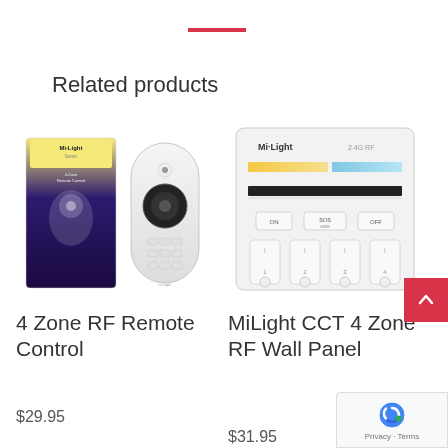Related products
[Figure (photo): 4 Zone RF Remote Control product photo showing box and remote]
4 Zone RF Remote Control
$29.95
[Figure (photo): MiLight CCT 4 Zone RF Wall Panel product photo]
MiLight CCT 4 Zone RF Wall Panel
$31.95